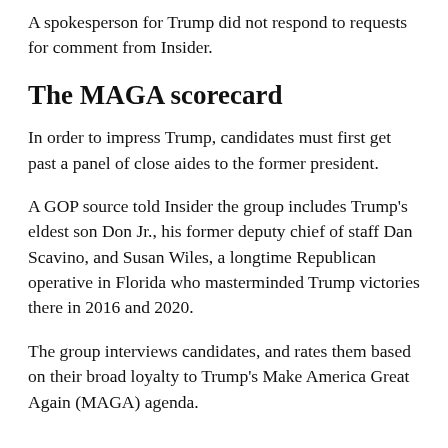A spokesperson for Trump did not respond to requests for comment from Insider.
The MAGA scorecard
In order to impress Trump, candidates must first get past a panel of close aides to the former president.
A GOP source told Insider the group includes Trump's eldest son Don Jr., his former deputy chief of staff Dan Scavino, and Susan Wiles, a longtime Republican operative in Florida who masterminded Trump victories there in 2016 and 2020.
The group interviews candidates, and rates them based on their broad loyalty to Trump's Make America Great Again (MAGA) agenda.